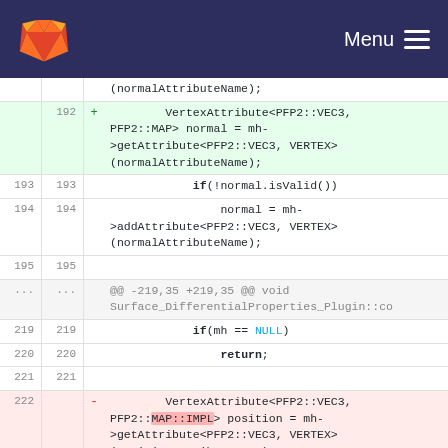GitLab — Menu
[Figure (screenshot): GitLab code diff view showing changes to C++ source code involving VertexAttribute and getAttribute calls, with added and removed lines around line numbers 192-222]
(normalAttributeName);
192 + VertexAttribute<PFP2::VEC3, PFP2::MAP> normal = mh->getAttribute<PFP2::VEC3, VERTEX>(normalAttributeName);
193 193 if(!normal.isValid())
194 194 normal = mh->addAttribute<PFP2::VEC3, VERTEX>(normalAttributeName);
195 195
... ... @@ -219,35 +219,35 @@ void Surface_DifferentialProperties_Plugin::co
219 219 if(mh == NULL)
220 220 return;
221 221
222 - VertexAttribute<PFP2::VEC3, PFP2::MAP::IMPL> position = mh->getAttribute<PFP2::VEC3, VERTEX>(positionAttributeName);
222 + VertexAttribute<PFP2::VEC3,